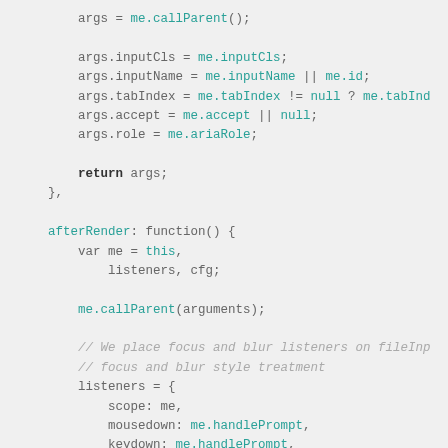args = me.callParent();

args.inputCls = me.inputCls;
args.inputName = me.inputName || me.id;
args.tabIndex = me.tabIndex != null ? me.tabInd
args.accept = me.accept || null;
args.role = me.ariaRole;

return args;
},

afterRender: function() {
    var me = this,
        listeners, cfg;

    me.callParent(arguments);

    // We place focus and blur listeners on fileInp
    // focus and blur style treatment
    listeners = {
        scope: me,
        mousedown: me.handlePrompt,
        keydown: me.handlePrompt,
        change: me.fireChange